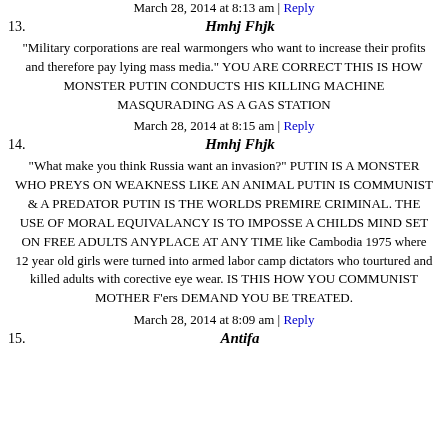March 28, 2014 at 8:13 am | Reply
13.
Hmhj Fhjk
"Military corporations are real warmongers who want to increase their profits and therefore pay lying mass media." YOU ARE CORRECT THIS IS HOW MONSTER PUTIN CONDUCTS HIS KILLING MACHINE MASQURADING AS A GAS STATION
March 28, 2014 at 8:15 am | Reply
14.
Hmhj Fhjk
"What make you think Russia want an invasion?" PUTIN IS A MONSTER WHO PREYS ON WEAKNESS LIKE AN ANIMAL PUTIN IS COMMUNIST & A PREDATOR PUTIN IS THE WORLDS PREMIRE CRIMINAL. THE USE OF MORAL EQUIVALANCY IS TO IMPOSSE A CHILDS MIND SET ON FREE ADULTS ANYPLACE AT ANY TIME like Cambodia 1975 where 12 year old girls were turned into armed labor camp dictators who tourtured and killed adults with corective eye wear. IS THIS HOW YOU COMMUNIST MOTHER F'ers DEMAND YOU BE TREATED.
March 28, 2014 at 8:09 am | Reply
15.
Antifa